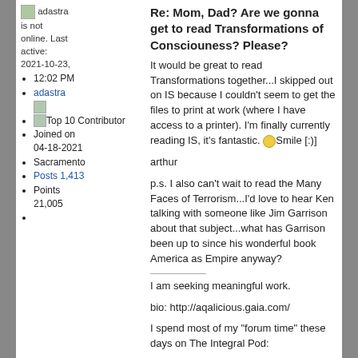adastra is not online. Last active: 2021-10-23, 12:02 PM
adastra
[avatar image]
Top 10 Contributor
Joined on 04-18-2021
Sacramento
Posts 1,413
Points 21,005
Re: Mom, Dad? Are we gonna get to read Transformations of Consciouness? Please?
It would be great to read Transformations together...I skipped out on IS because I couldn't seem to get the files to print at work (where I have access to a printer).  I'm finally currently reading IS, it's fantastic. [Smile [:)]
arthur
p.s. I also can't wait to read the Many Faces of Terrorism...I'd love to hear Ken talking with someone like Jim Garrison about that subject...what has Garrison been up to since his wonderful book America as Empire anyway?
I am seeking meaningful work.
bio: http://aqalicious.gaia.com/
I spend most of my "forum time" these days on The Integral Pod: